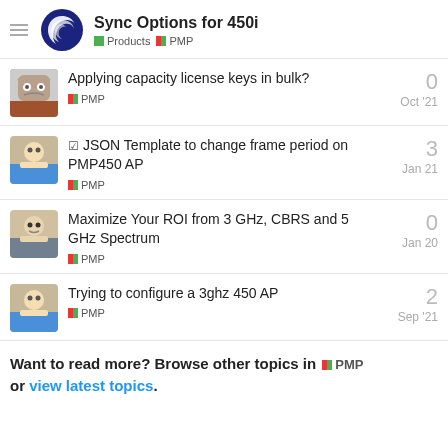Sync Options for 450i — Products | PMP
Applying capacity license keys in bulk? — PMP — Oct '21 — 0 replies
✓ JSON Template to change frame period on PMP450 AP — PMP — Jan 21 — 3 replies
Maximize Your ROI from 3 GHz, CBRS and 5 GHz Spectrum — PMP — Jan 20 — 0 replies
Trying to configure a 3ghz 450 AP — PMP — Sep '21 — 2 replies
Want to read more? Browse other topics in PMP or view latest topics.